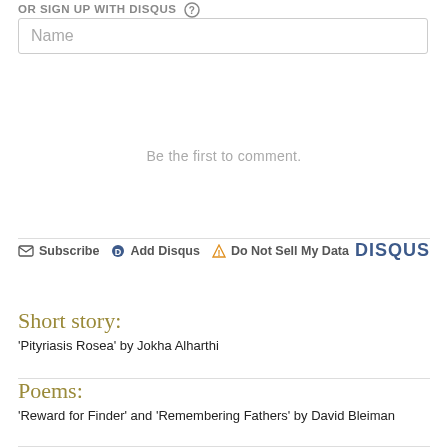OR SIGN UP WITH DISQUS
[Figure (screenshot): Name input field placeholder]
Be the first to comment.
Subscribe  Add Disqus  Do Not Sell My Data   DISQUS
Short story:
'Pityriasis Rosea' by Jokha Alharthi
Poems:
'Reward for Finder' and 'Remembering Fathers' by David Bleiman
Comic strip: